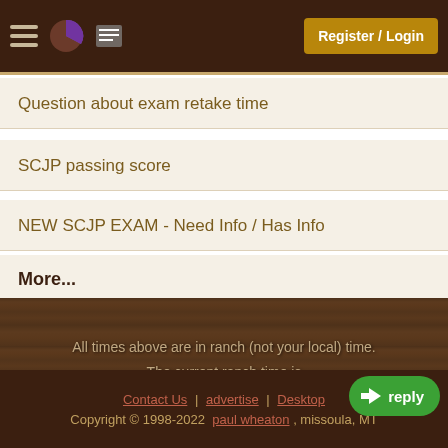Register / Login
Question about exam retake time
SCJP passing score
NEW SCJP EXAM - Need Info / Has Info
More...
All times above are in ranch (not your local) time. The current ranch time is Aug 27, 2022 17:40:07.
Contact Us | advertise | Desktop | Copyright © 1998-2022 paul wheaton , missoula, MT